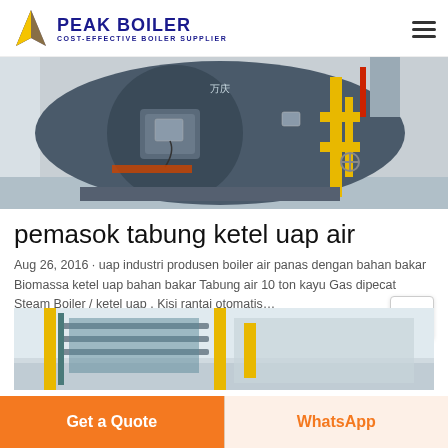PEAK BOILER COST-EFFECTIVE BOILER SUPPLIER
[Figure (photo): Industrial water tube steam boiler in a facility, showing large cylindrical dark grey boiler body with front access panel, yellow piping on the right side, red pipe at top right, and industrial equipment.]
pemasok tabung ketel uap air
Aug 26, 2016 · uap industri produsen boiler air panas dengan bahan bakar Biomassa ketel uap bahan bakar Tabung air 10 ton kayu Gas dipecat Steam Boiler / ketel uap . Kisi rantai otomatis…
[Figure (photo): Partial view of industrial boiler equipment with metal framework and yellow structural elements in a factory setting.]
Get a Quote   WhatsApp